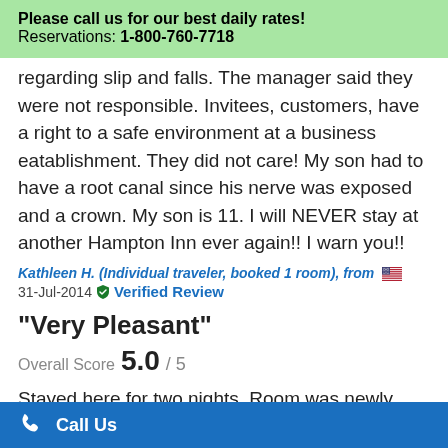Please call us for our best daily rates! Reservations: 1-800-760-7718
regarding slip and falls. The manager said they were not responsible. Invitees, customers, have a right to a safe environment at a business eatablishment. They did not care! My son had to have a root canal since his nerve was exposed and a crown. My son is 11. I will NEVER stay at another Hampton Inn ever again!! I warn you!!
Kathleen H. (Individual traveler, booked 1 room), from [flag] 31-Jul-2014 Verified Review
"Very Pleasant"
Overall Score 5.0 / 5
Stayed here for two nights. Room was newly remodeled and very nice. The entire hotel was
Call Us